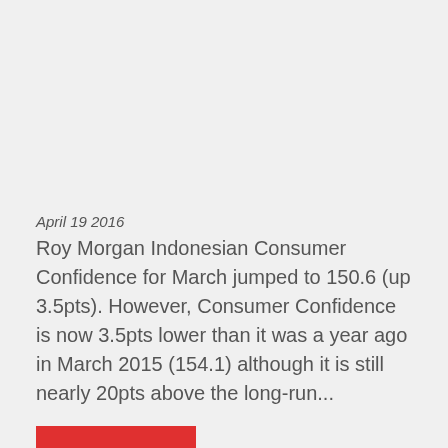April 19 2016
Roy Morgan Indonesian Consumer Confidence for March jumped to 150.6 (up 3.5pts). However, Consumer Confidence is now 3.5pts lower than it was a year ago in March 2015 (154.1) although it is still nearly 20pts above the long-run...